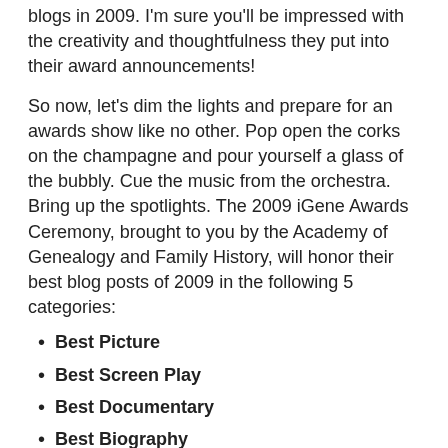blogs in 2009. I'm sure you'll be impressed with the creativity and thoughtfulness they put into their award announcements!
So now, let's dim the lights and prepare for an awards show like no other. Pop open the corks on the champagne and pour yourself a glass of the bubbly. Cue the music from the orchestra. Bring up the spotlights. The 2009 iGene Awards Ceremony, brought to you by the Academy of Genealogy and Family History, will honor their best blog posts of 2009 in the following 5 categories:
Best Picture
Best Screen Play
Best Documentary
Best Biography
Best Comedy
Let the awards begin!
Bill West presents THE THIRD ANNUAL WEST IN NEW